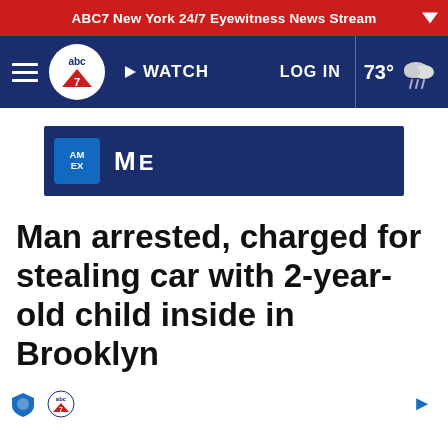ABC7 New York 24/7 Eyewitness News Stream
[Figure (logo): ABC7 navigation bar with hamburger menu, ABC7 logo, WATCH button, LOG IN link, and weather showing 73° with cloud/rain icon]
[Figure (infographic): American Express advertisement banner showing AMEX logo and text ME]
Man arrested, charged for stealing car with 2-year-old child inside in Brooklyn
[Figure (logo): ABC7 small logo and shield icon in author row]